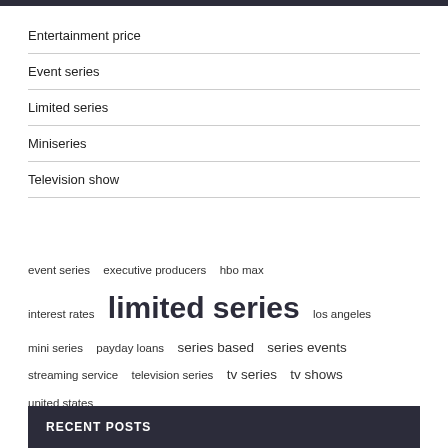Entertainment price
Event series
Limited series
Miniseries
Television show
event series  executive producers  hbo max  interest rates  limited series  los angeles  mini series  payday loans  series based  series events  streaming service  television series  tv series  tv shows  united states
RECENT POSTS